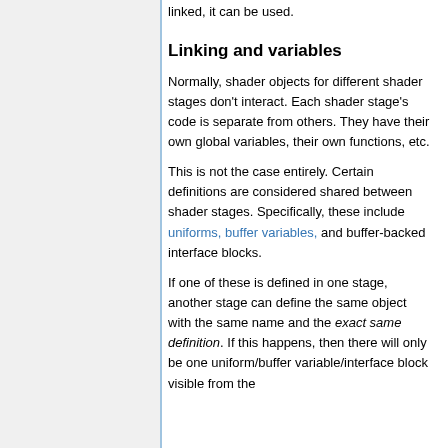linked, it can be used.
Linking and variables
Normally, shader objects for different shader stages don't interact. Each shader stage's code is separate from others. They have their own global variables, their own functions, etc.
This is not the case entirely. Certain definitions are considered shared between shader stages. Specifically, these include uniforms, buffer variables, and buffer-backed interface blocks.
If one of these is defined in one stage, another stage can define the same object with the same name and the exact same definition. If this happens, then there will only be one uniform/buffer variable/interface block visible from the